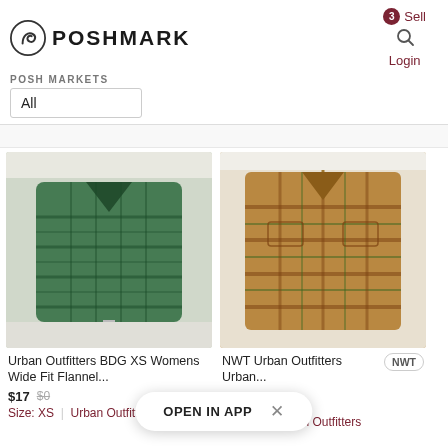[Figure (screenshot): Poshmark app/website screenshot showing logo, navigation, and two flannel shirt product listings]
POSHMARK
Sell
Login
POSH MARKETS
All
Urban Outfitters BDG XS Womens Wide Fit Flannel...
$17  $0
Size: XS  |  Urban Outfitters
NWT Urban Outfitters Urban...
NWT
Size: S  |  Urban Outfitters
OPEN IN APP  ×